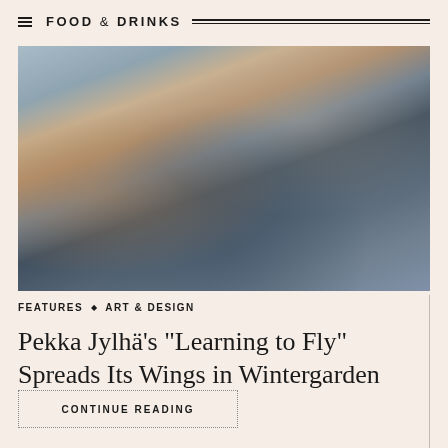FOOD & DRINKS
[Figure (photo): Interior of a stylish hotel bar/lounge with blue sofas, wooden chairs, orange accent sofa, marble fireplace, pendant lights, and large mural on the wall]
FEATURES ◆ ART & DESIGN
Pekka Jylhä's "Learning to Fly" Spreads Its Wings in Wintergarden
CONTINUE READING